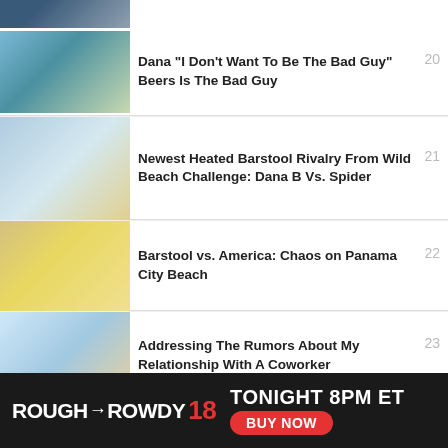[Figure (screenshot): Partial top thumbnail of a video item (cropped)]
Dana "I Don't Want To Be The Bad Guy" Beers Is The Bad Guy
Newest Heated Barstool Rivalry From Wild Beach Challenge: Dana B Vs. Spider
Barstool vs. America: Chaos on Panama City Beach
Addressing The Rumors About My Relationship With A Coworker
Only One Person Got Lost In The Barstool Vs. America Maze: GLENNY
[Figure (infographic): Ad banner: ROUGH N ROWDY 18, TONIGHT 8PM ET, BUY NOW]